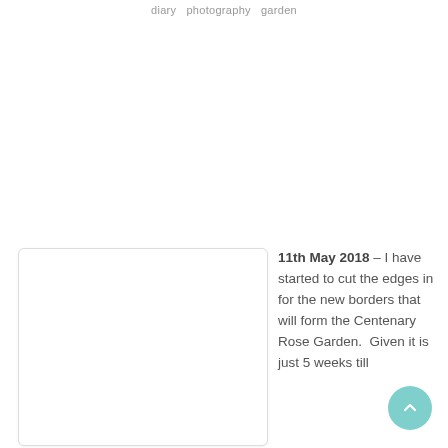diary photography garden
[Figure (photo): A white card or photo placeholder with rounded corners and a light border, positioned in the lower-left portion of the page.]
11th May 2018 – I have started to cut the edges in for the new borders that will form the Centenary Rose Garden.  Given it is just 5 weeks till